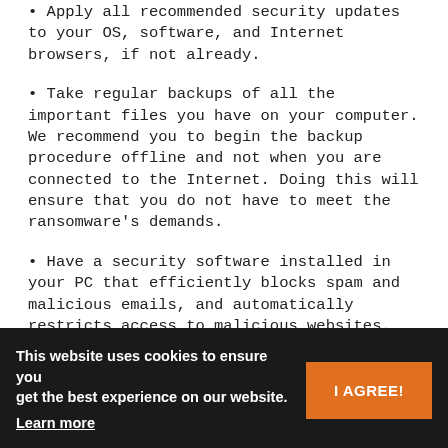Apply all recommended security updates to your OS, software, and Internet browsers, if not already.
Take regular backups of all the important files you have on your computer. We recommend you to begin the backup procedure offline and not when you are connected to the Internet. Doing this will ensure that you do not have to meet the ransomware's demands.
Have a security software installed in your PC that efficiently blocks spam and malicious emails, and automatically restricts access to malicious websites. Quick Heal Antivirus has an inbuilt anti-ransomware defense that detects and stops ransomware that encrypts your data. This defense mechanism works on a behavior-based monitoring which means. It analyzes programs based on their
This website uses cookies to ensure you get the best experience on our website. Learn more